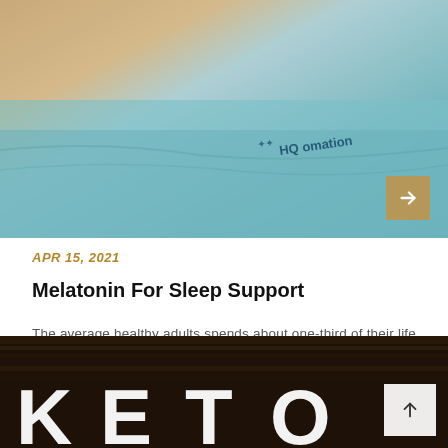[Figure (photo): Close-up photo of a light blue fabric or pillow with a logo/text visible on it, warm tan/skin tones at top]
APR 15, 2021
Melatonin For Sleep Support
The average healthy adults spends about one-third of their life catching ZZZs. Evidently, sleep is a pretty important part of life. The human body was naturally designed to wake and sleep.
[Figure (photo): Dark wood surface with large white bold letters visible at bottom, partially cropped]